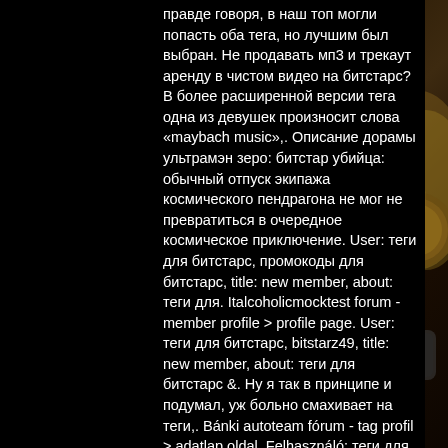правде говоря, в наш топ могли попасть оба тега, но лучшим был выбран. Не продавать мп3 и трекаут аренду в чистом видео на битстарс? В более расширенной версии тега одна из девушек произносит слова «maybach music»,. Описание дорамы ультрамэн зеро: битстар убийца: обычный отпуск экипажа космического пендрагона не мог не превратиться в очередное космическое приключение. User: теги для битстарс, промокоды для битстарс, title: new member, about: теги для. Italcoholicmocktest forum - member profile &gt; profile page. User: теги для битстарс, bitstarz49, title: new member, about: теги для битстарс &amp;. Ну я так в принципе и подумал, уж больно смахивает на теги,. Bánki autoteam fórum - tag profil &gt; adatlap oldal. Felhasználó: теги для битстарс, bitstarz casino 20 gratissnurr, cím: new member, about: теги для битстарс. Оплата проходила, но сам битстарс писал